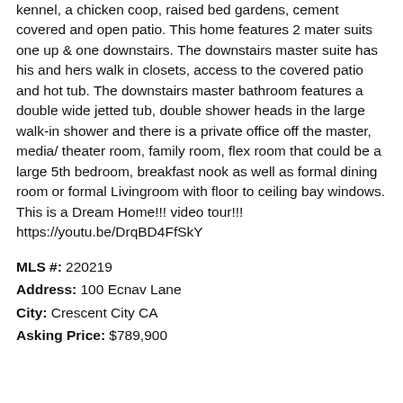kennel, a chicken coop, raised bed gardens, cement covered and open patio. This home features 2 mater suits one up & one downstairs. The downstairs master suite has his and hers walk in closets, access to the covered patio and hot tub. The downstairs master bathroom features a double wide jetted tub, double shower heads in the large walk-in shower and there is a private office off the master, media/ theater room, family room, flex room that could be a large 5th bedroom, breakfast nook as well as formal dining room or formal Livingroom with floor to ceiling bay windows. This is a Dream Home!!! video tour!!! https://youtu.be/DrqBD4FfSkY
MLS #: 220219
Address: 100 Ecnav Lane
City: Crescent City CA
Asking Price: $789,900